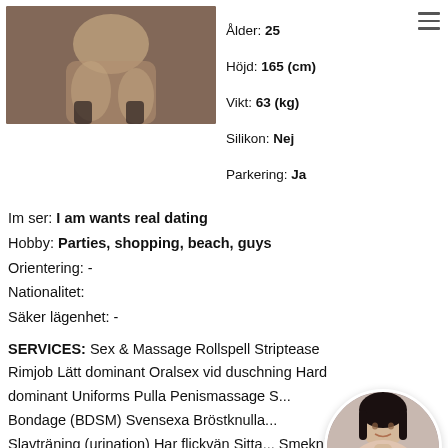[Figure (photo): Photo of a woman in lingerie in a kneeling pose]
Ålder: 25
Höjd: 165 (cm)
Vikt: 63 (kg)
Silikon: Nej
Parkering: Ja
Im ser: I am wants real dating
Hobby: Parties, shopping, beach, guys
Orientering: -
Nationalitet:
Säker lägenhet: -
SERVICES: Sex & Massage Rollspell Striptease Rimjob Lätt dominant Oralsex vid duschning Hard dominant Uniforms Pulla Penismassage S... Bondage (BDSM) Svensexa Bröstknulla... Slavträning (urination) Har flickvän Sitta... Smekning Foto Fotfetisch Anal stretching (djupt i halsen) Fista Sexiga underkläder
[Figure (photo): Circular profile photo of a dark-haired woman]